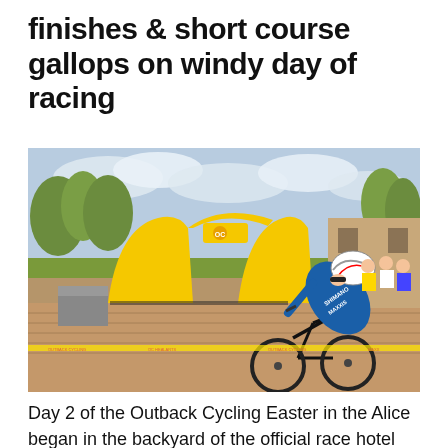finishes & short course gallops on windy day of racing
[Figure (photo): A cyclist in a Shimano/Maxxis blue jersey and white helmet riding a mountain bike across a finish line under a yellow inflatable Outback Cycling arch, with spectators and trees in the background]
Day 2 of the Outback Cycling Easter in the Alice began in the backyard of the official race hotel